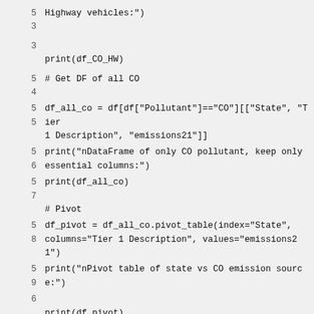53    Highway vehicles:")
53    print(df_CO_HW)
54    # Get DF of all CO
55    df_all_co = df[df["Pollutant"]=="CO"][["State", "Tier 1 Description", "emissions21"]]
55
56    print("nDataFrame of only CO pollutant, keep only essential columns:")
57    print(df_all_co)
57    # Pivot
58    df_pivot = df_all_co.pivot_table(index="State", columns="Tier 1 Description", values="emissions21")
59    print("nPivot table of state vs CO emission source:")
6     print(df_pivot)